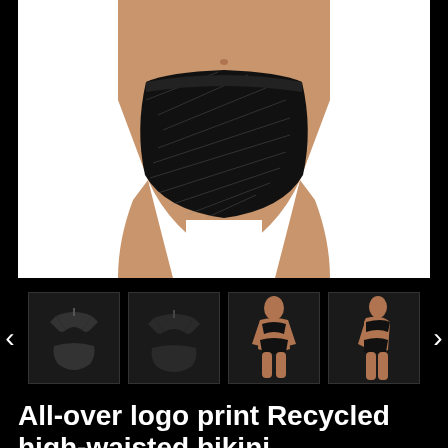[Figure (photo): Close-up of a model's torso wearing a black high-waisted bikini bottom with all-over logo print pattern, on white background]
[Figure (photo): Thumbnail gallery row showing 4 product images: two flat-lay/icon style shots of the black bikini set, and two model shots wearing the bikini, with left and right navigation arrows]
All-over logo print Recycled high-waisted bikini
$54.00